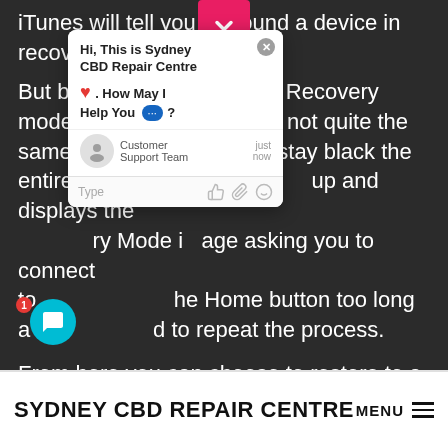iTunes will tell you it's found a device in recovery.
But be cautious—DFU and Recovery modes are very similar, but not quite the same. Your screen should stay black the entire time. If the screen lights up and displays the Recovery Mode image asking you to connect to iTunes, hold the Home button too long and you'll need to repeat the process.
From here you can choose to restore to a specific firmware or a previous backup. Click
[Figure (screenshot): Chat widget popup from Sydney CBD Repair Centre with greeting 'Hi, This is Sydney CBD Repair Centre ❤. How May I Help You [typing indicator] ?' and Customer Support Team agent row, plus input bar with Type placeholder and emoji/attachment icons.]
SYDNEY CBD REPAIR CENTRE  MENU ≡